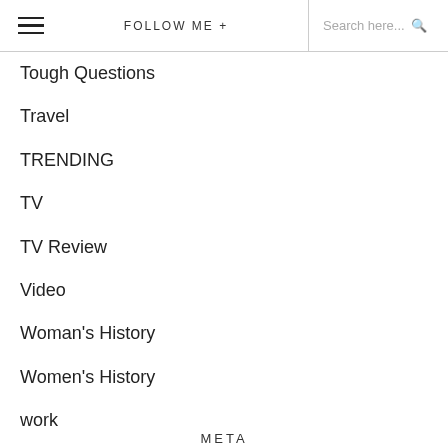FOLLOW ME + Search here...
Tough Questions
Travel
TRENDING
TV
TV Review
Video
Woman's History
Women's History
work
Writing
META